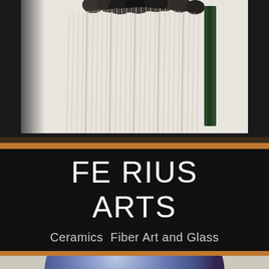[Figure (photo): Close-up photo of a fiber art textile piece with hanging yarn fringe strands in cream/beige colors and dark gray pompom clusters at the top, mounted on a dark rod, against a light background.]
FE RIUS ARTS
Ceramics  Fiber Art and Glass
[Figure (photo): Partial view of a round ceramic or glass disc/bowl with iridescent blue-purple glaze, visible from the bottom edge of the frame.]